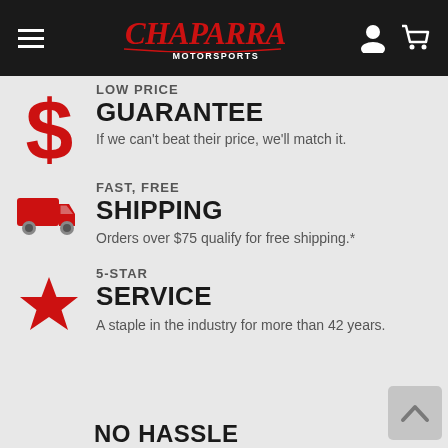Chaparral Motorsports
LOW PRICE GUARANTEE - If we can't beat their price, we'll match it.
FAST, FREE SHIPPING - Orders over $75 qualify for free shipping.*
5-STAR SERVICE - A staple in the industry for more than 42 years.
NO HASSLE